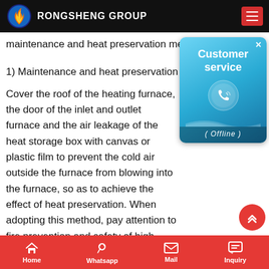RONGSHENG GROUP
maintenance and heat preservation metho...
1) Maintenance and heat preservation me...
[Figure (illustration): Customer service popup widget showing phone icon and '(Offline)' status, blue gradient background]
Cover the roof of the heating furnace, the door of the inlet and outlet furnace and the air leakage of the heat storage box with canvas or plastic film to prevent the cold air outside the furnace from blowing into the furnace, so as to achieve the effect of heat preservation. When adopting this method, pay attention to fire prevention and safety of high-altitude operations during construction. Because of cross-operations at the
Home   Whatsapp   Mail   Inquiry